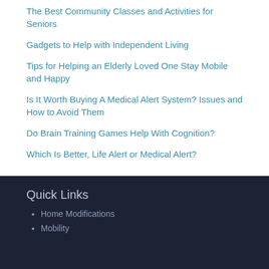The Best Community Classes and Activities for Seniors
Gadgets to Help with Independent Living
Tips for Helping an Elderly Loved One Stay Mobile and Happy
Is It Worth Buying A Medical Alert System? Issues and How to Avoid Them
Do Brain Training Games Help With Cognition?
Which Is Better, Life Alert or Medical Alert?
Quick Links
Home Modifications
Mobility